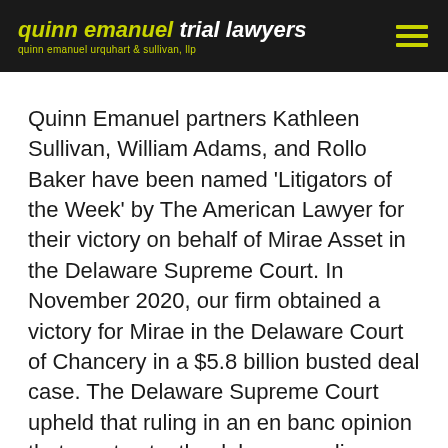quinn emanuel trial lawyers quinn emanuel urquhart & sullivan, llp
Quinn Emanuel partners Kathleen Sullivan, William Adams, and Rollo Baker have been named 'Litigators of the Week' by The American Lawyer for their victory on behalf of Mirae Asset in the Delaware Supreme Court. In November 2020, our firm obtained a victory for Mirae in the Delaware Court of Chancery in a $5.8 billion busted deal case. The Delaware Supreme Court upheld that ruling in an en banc opinion that creates textbook law on ordinary course covenants.
Read the full story